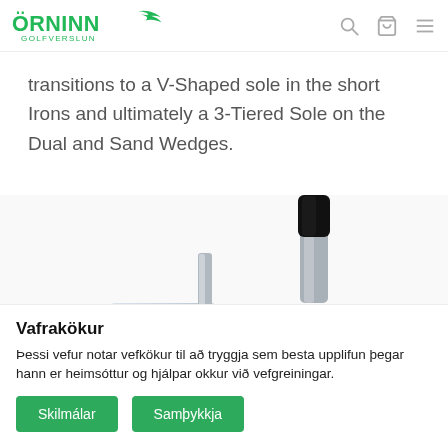ÖRNINN GOLFVERSLUN
transitions to a V-Shaped sole in the short Irons and ultimately a 3-Tiered Sole on the Dual and Sand Wedges.
[Figure (photo): Close-up photo of golf iron club heads with blue metallic finish and silver shafts on a white background.]
Vafrakökur
Þessi vefur notar vefkökur til að tryggja sem besta upplifun þegar hann er heimsóttur og hjálpar okkur við vefgreiningar.
Skilmálar   Samþykkja